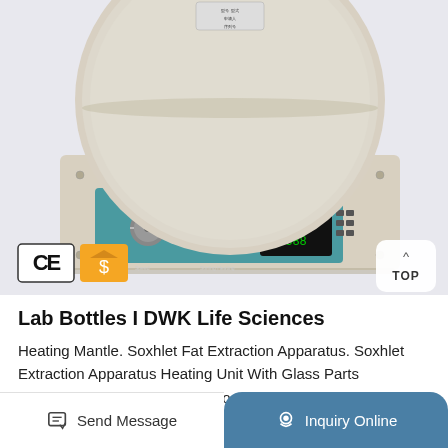[Figure (photo): Laboratory magnetic stirrer/heating mantle device with teal/blue control panel, digital display, rotary knob, and a large circular flat heating surface. CE certification badge and a gold supplier badge are shown in the lower left of the image. A 'TOP' navigation button is in the lower right.]
Lab Bottles I DWK Life Sciences
Heating Mantle. Soxhlet Fat Extraction Apparatus. Soxhlet Extraction Apparatus Heating Unit With Glass Parts SKU:JA21830-37. Be the first to review this product. ... Health, Hospital Tenders Package, school hospital borosil duran
Send Message   Inquiry Online